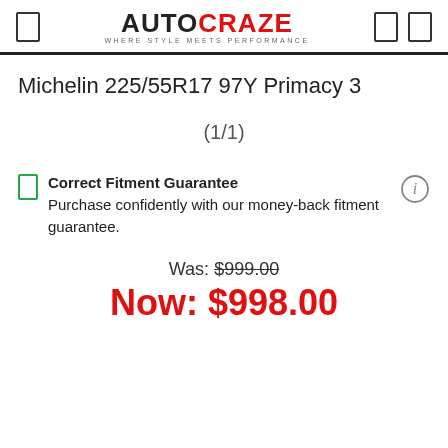AUTOCRAZE — WHERE STYLE MEETS PERFORMANCE
Michelin 225/55R17 97Y Primacy 3
(1/1)
Correct Fitment Guarantee
Purchase confidently with our money-back fitment guarantee.
Was: $999.00
Now: $998.00